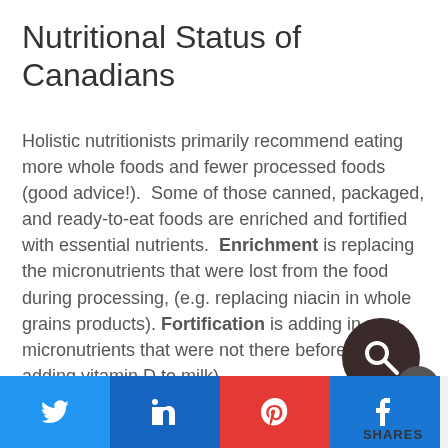Nutritional Status of Canadians
Holistic nutritionists primarily recommend eating more whole foods and fewer processed foods (good advice!).  Some of those canned, packaged, and ready-to-eat foods are enriched and fortified with essential nutrients.  Enrichment is replacing the micronutrients that were lost from the food during processing, (e.g. replacing niacin in whole grains products). Fortification is adding in new micronutrients that were not there before (e.g. adding vitamin D to milk).